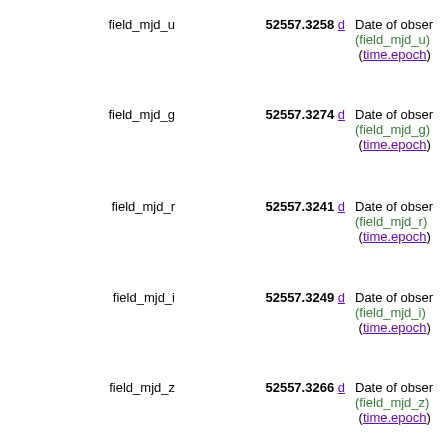(field_quality) (meta.code.c)
| Name | Value | Description |
| --- | --- | --- |
| field_mjd_u | 52557.3258 d | Date of observation (field_mjd_u) (time.epoch) |
| field_mjd_g | 52557.3274 d | Date of observation (field_mjd_g) (time.epoch) |
| field_mjd_r | 52557.3241 d | Date of observation (field_mjd_r) (time.epoch) |
| field_mjd_i | 52557.3249 d | Date of observation (field_mjd_i) (time.epoch) |
| field_mjd_z | 52557.3266 d | Date of observation (field_mjd_z) (time.epoch) |
| SDSS16 | SDSS J002817.96-005132.6 | (i) SDSS-DR16 name, iauformat J2000 position (meta.id) |
| SDSS-ID | 3384-301-1-0416-0587 | (i) SDSS object identifier camcol-field- (meta.id) |